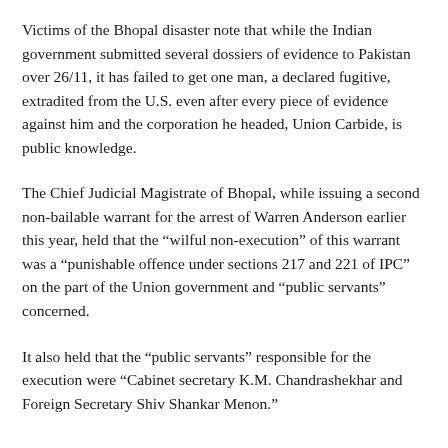Victims of the Bhopal disaster note that while the Indian government submitted several dossiers of evidence to Pakistan over 26/11, it has failed to get one man, a declared fugitive, extradited from the U.S. even after every piece of evidence against him and the corporation he headed, Union Carbide, is public knowledge.
The Chief Judicial Magistrate of Bhopal, while issuing a second non-bailable warrant for the arrest of Warren Anderson earlier this year, held that the “wilful non-execution” of this warrant was a “punishable offence under sections 217 and 221 of IPC” on the part of the Union government and “public servants” concerned.
It also held that the “public servants” responsible for the execution were “Cabinet secretary K.M. Chandrashekhar and Foreign Secretary Shiv Shankar Menon.”